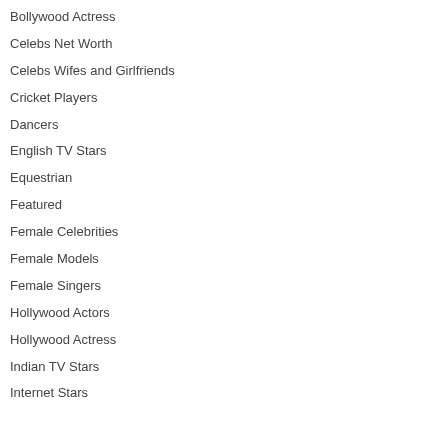Bollywood Actress
Celebs Net Worth
Celebs Wifes and Girlfriends
Cricket Players
Dancers
English TV Stars
Equestrian
Featured
Female Celebrities
Female Models
Female Singers
Hollywood Actors
Hollywood Actress
Indian TV Stars
Internet Stars